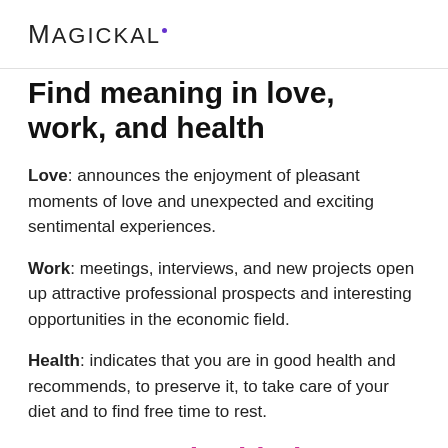MAGICKAL·
Find meaning in love, work, and health
Love: announces the enjoyment of pleasant moments of love and unexpected and exciting sentimental experiences.
Work: meetings, interviews, and new projects open up attractive professional prospects and interesting opportunities in the economic field.
Health: indicates that you are in good health and recommends, to preserve it, to take care of your diet and to find free time to rest.
How to work with the energy of